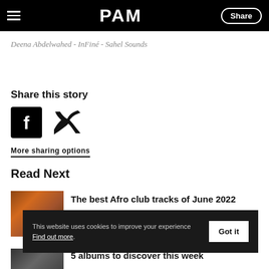PAM | Share
Deena Abdelwahed - InFiné - Sahel Sounds
Share this story
[Figure (other): Facebook and Twitter share icons]
More sharing options
Read Next
[Figure (photo): Thumbnail image for 'The best Afro club tracks of June 2022']
The best Afro club tracks of June 2022
This website uses cookies to improve your experience Find out more. Got it
[Figure (photo): Thumbnail image for '5 albums to discover this week']
5 albums to discover this week